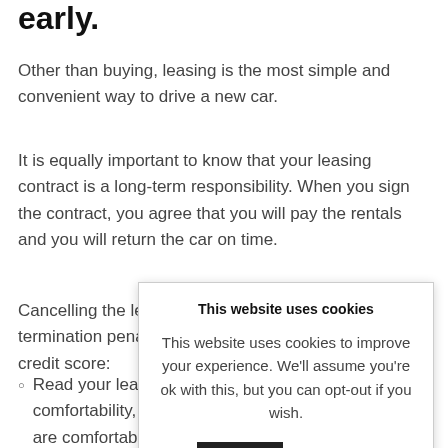early.
Other than buying, leasing is the most simple and convenient way to drive a new car.
It is equally important to know that your leasing contract is a long-term responsibility. When you sign the contract, you agree that you will pay the rentals and you will return the car on time.
Cancelling the le[ase early can result in] termination pena[lties and harm your] credit score:
Read your lea[se agreement for] comfortability, [make sure you] are comfortab[le with the] vehicle itself.
This website uses cookies

This website uses cookies to improve your experience. We'll assume you're ok with this, but you can opt-out if you wish.

Accept    Read More